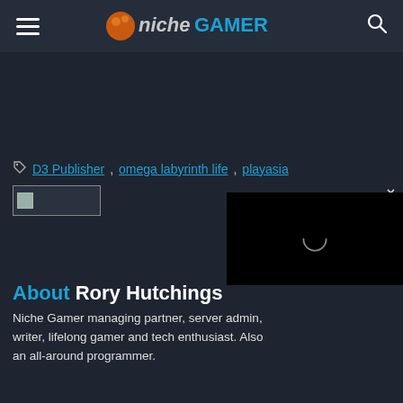Niche Gamer — site header with hamburger menu, logo, and search icon
D3 Publisher, omega labyrinth life, playasia
[Figure (screenshot): Small image thumbnail placeholder box with broken image icon, and a black video player box with loading spinner circle, and a close (×) button]
About Rory Hutchings
Niche Gamer managing partner, server admin, writer, lifelong gamer and tech enthusiast. Also an all-around programmer.
[Figure (other): Twitter bird icon and email envelope icon in cyan and grey]